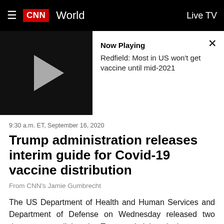CNN World | Live TV
[Figure (screenshot): CNN video player showing a paused video with a play button on the left (dark background) and 'Now Playing' info on the right: 'Redfield: Most in US won't get vaccine until mid-2021']
9:30 a.m. ET, September 16, 2020
Trump administration releases interim guide for Covid-19 vaccine distribution
From CNN's Jamie Gumbrecht
The US Department of Health and Human Services and Department of Defense on Wednesday released two documents outlining the Trump administration's strategy to distribute Covid-19 vaccines.
HHS said it developed the documents with the